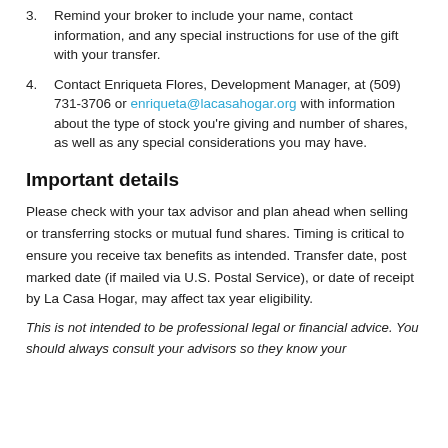3. Remind your broker to include your name, contact information, and any special instructions for use of the gift with your transfer.
4. Contact Enriqueta Flores, Development Manager, at (509) 731-3706 or enriqueta@lacasahogar.org with information about the type of stock you're giving and number of shares, as well as any special considerations you may have.
Important details
Please check with your tax advisor and plan ahead when selling or transferring stocks or mutual fund shares. Timing is critical to ensure you receive tax benefits as intended. Transfer date, post marked date (if mailed via U.S. Postal Service), or date of receipt by La Casa Hogar, may affect tax year eligibility.
This is not intended to be professional legal or financial advice. You should always consult your advisors so they know your